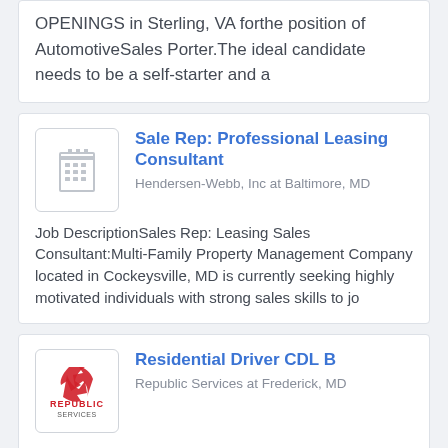OPENINGS in Sterling, VA forthe position of AutomotiveSales Porter.The ideal candidate needs to be a self-starter and a
Sale Rep: Professional Leasing Consultant
Hendersen-Webb, Inc at Baltimore, MD
Job DescriptionSales Rep: Leasing Sales Consultant:Multi-Family Property Management Company located in Cockeysville, MD is currently seeking highly motivated individuals with strong sales skills to jo
Residential Driver CDL B
Republic Services at Frederick, MD
Republic Services, Inc. is a leader in the U.S. environmental services industry.